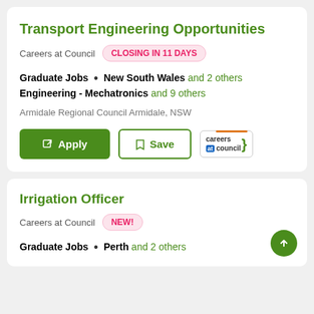Transport Engineering Opportunities
Careers at Council   CLOSING IN 11 DAYS
Graduate Jobs • New South Wales and 2 others Engineering - Mechatronics and 9 others
Armidale Regional Council Armidale, NSW
[Figure (screenshot): Apply and Save buttons with Careers at Council logo]
Irrigation Officer
Careers at Council   NEW!
Graduate Jobs • Perth and 2 others